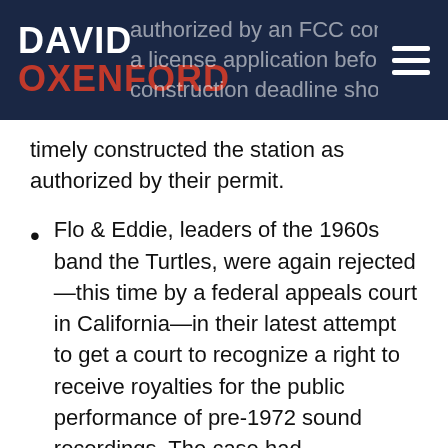DAVID OXENFORD
timely constructed the station as authorized by their permit.
Flo & Eddie, leaders of the 1960s band the Turtles, were again rejected—this time by a federal appeals court in California—in their latest attempt to get a court to recognize a right to receive royalties for the public performance of pre-1972 sound recordings. The case had implications for broadcasters, as a contrary decision could have recognized a state-based performance royalty that could have applied to over-the-air radio and to anyone else who played these oldies in public in California. (Opinion). Watch for an article